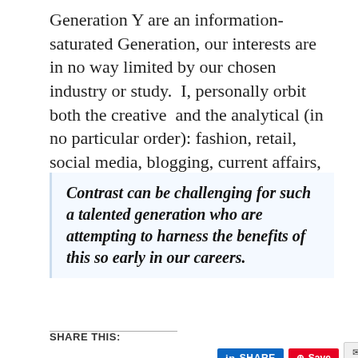Generation Y are an information-saturated Generation, our interests are in no way limited by our chosen industry or study.  I, personally orbit both the creative  and the analytical (in no particular order): fashion, retail, social media, blogging, current affairs, politics, history and digital communication.
Contrast can be challenging for such a talented generation who are attempting to harness the benefits of this so early in our careers.
Continue reading →
SHARE THIS: